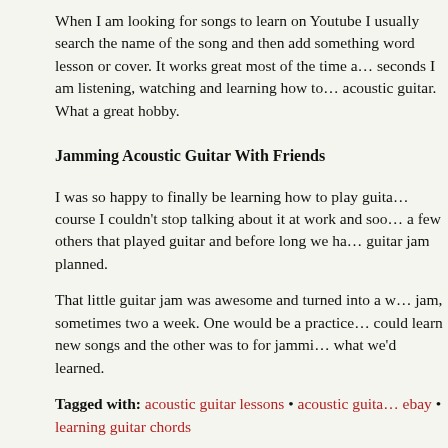When I am looking for songs to learn on Youtube I usually search the name of the song and then add something like the word lesson or cover. It works great most of the time and within seconds I am listening, watching and learning how to play on acoustic guitar. What a great hobby.
Jamming Acoustic Guitar With Friends
I was so happy to finally be learning how to play guitar. Of course I couldn't stop talking about it at work and soon found a few others that played guitar and before long we had a guitar jam planned.
That little guitar jam was awesome and turned into a weekly jam, sometimes two a week. One would be a practice where we could learn new songs and the other was to for jamming what we'd learned.
Tagged with: acoustic guitar lessons • acoustic guitar • ebay • learning guitar chords
Filed under: acoustic guitar • basic guitar chords • be • guitar lessons • how to play guitar • learn to play guitar